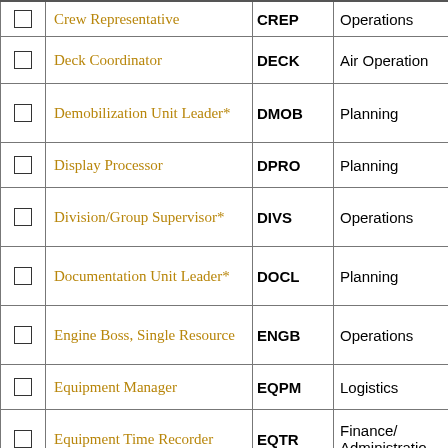|  | Position | Code | Section |
| --- | --- | --- | --- |
| ☐ | Crew Representative | CREP | Operations |
| ☐ | Deck Coordinator | DECK | Air Operations |
| ☐ | Demobilization Unit Leader* | DMOB | Planning |
| ☐ | Display Processor | DPRO | Planning |
| ☐ | Division/Group Supervisor* | DIVS | Operations |
| ☐ | Documentation Unit Leader* | DOCL | Planning |
| ☐ | Engine Boss, Single Resource | ENGB | Operations |
| ☐ | Equipment Manager | EQPM | Logistics |
| ☐ | Equipment Time Recorder | EQTR | Finance/Administration |